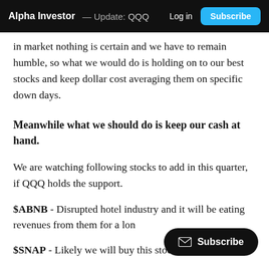Alpha Investor — Update: QQQ   Log in   Subscribe
in market nothing is certain and we have to remain humble, so what we would do is holding on to our best stocks and keep dollar cost averaging them on specific down days.
Meanwhile what we should do is keep our cash at hand.
We are watching following stocks to add in this quarter, if QQQ holds the support.
$ABNB - Disrupted hotel industry and it will be eating revenues from them for a lon…
$SNAP - Likely we will buy this stock once it fills the